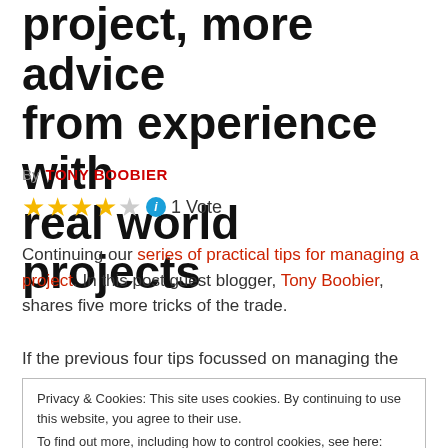project, more advice from experience with real world projects
By TONY BOOBIER
[Figure (other): 4 filled stars and 1 empty star rating, info icon, 1 Vote]
Continuing our series of practical tips for managing a project. In this post guest blogger, Tony Boobier, shares five more tricks of the trade.
If the previous four tips focussed on managing the
Privacy & Cookies: This site uses cookies. By continuing to use this website, you agree to their use.
To find out more, including how to control cookies, see here: Privacy Policy
Close and accept
projects too. Here is more of what Tony learnt from